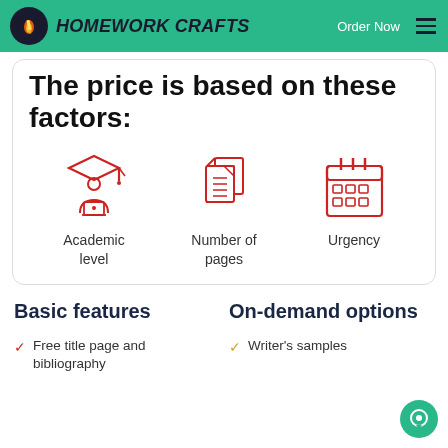HOMEWORK CRAFTS | Order Now
The price is based on these factors:
[Figure (illustration): Three red line icons: academic (graduate with laptop), number of pages (stacked documents), urgency (calendar)]
Academic level
Number of pages
Urgency
Basic features
On-demand options
Free title page and bibliography
Writer's samples